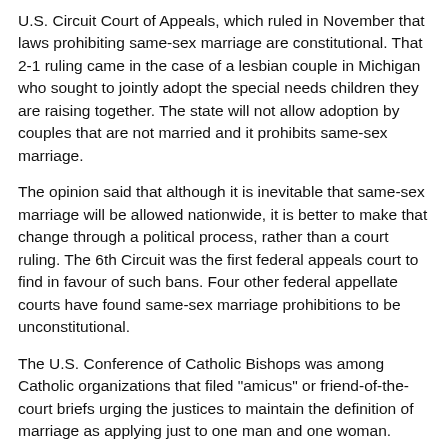U.S. Circuit Court of Appeals, which ruled in November that laws prohibiting same-sex marriage are constitutional. That 2-1 ruling came in the case of a lesbian couple in Michigan who sought to jointly adopt the special needs children they are raising together. The state will not allow adoption by couples that are not married and it prohibits same-sex marriage.
The opinion said that although it is inevitable that same-sex marriage will be allowed nationwide, it is better to make that change through a political process, rather than a court ruling. The 6th Circuit was the first federal appeals court to find in favour of such bans. Four other federal appellate courts have found same-sex marriage prohibitions to be unconstitutional.
The U.S. Conference of Catholic Bishops was among Catholic organizations that filed "amicus" or friend-of-the-court briefs urging the justices to maintain the definition of marriage as applying just to one man and one woman.
As of late April, 37 states and the District of Columbia allow same-sex marriages, most due to federal and state court rulings.
The court's ruling is expected before it adjourns for the term in late June.